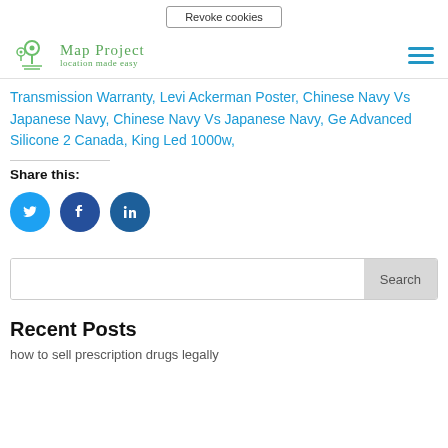Revoke cookies
[Figure (logo): Map Project logo with location pin icons and tagline 'location made easy']
Transmission Warranty, Levi Ackerman Poster, Chinese Navy Vs Japanese Navy, Chinese Navy Vs Japanese Navy, Ge Advanced Silicone 2 Canada, King Led 1000w,
Share this:
[Figure (illustration): Social share icons: Twitter (light blue circle), Facebook (dark blue circle), LinkedIn (dark blue circle)]
Search
Recent Posts
how to sell prescription drugs legally